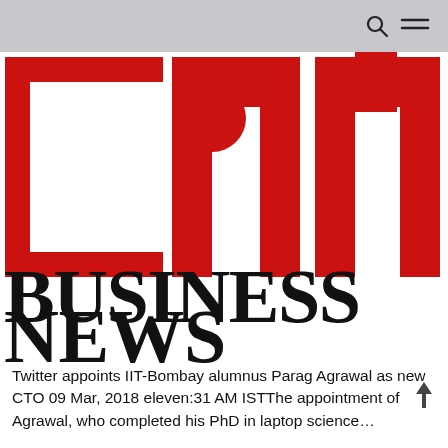[Figure (logo): CNN Business News logo — large red stylized 'cnn' letters above bold black serif text 'BUSINESS NEWS']
Twitter appoints IIT-Bombay alumnus Parag Agrawal as new CTO 09 Mar, 2018 eleven:31 AM ISTThe appointment of Agrawal, who completed his PhD in laptop science…